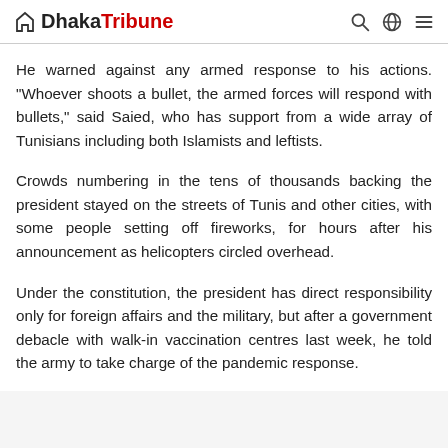Dhaka Tribune
He warned against any armed response to his actions. "Whoever shoots a bullet, the armed forces will respond with bullets," said Saied, who has support from a wide array of Tunisians including both Islamists and leftists.
Crowds numbering in the tens of thousands backing the president stayed on the streets of Tunis and other cities, with some people setting off fireworks, for hours after his announcement as helicopters circled overhead.
Under the constitution, the president has direct responsibility only for foreign affairs and the military, but after a government debacle with walk-in vaccination centres last week, he told the army to take charge of the pandemic response.